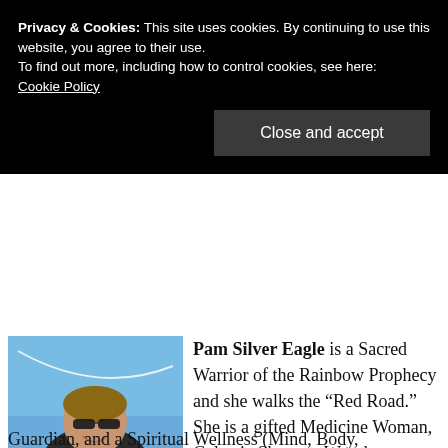Today, Tuesday, 15 December 2020 at
Privacy & Cookies: This site uses cookies. By continuing to use this website, you agree to their use.
To find out more, including how to control cookies, see here: Cookie Policy
[Figure (photo): Photo of Pam Silver Eagle outdoors against a blue sky, wearing sunglasses and a dark shirt, smiling.]
Pam Silver Eagle is a Sacred Warrior of the Rainbow Prophecy and she walks the “Red Road.”  She is a gifted Medicine Woman, Galactic Shaman, Wayshower, Earth Guardian, and a Spiritual Wellness (Mind, Body,